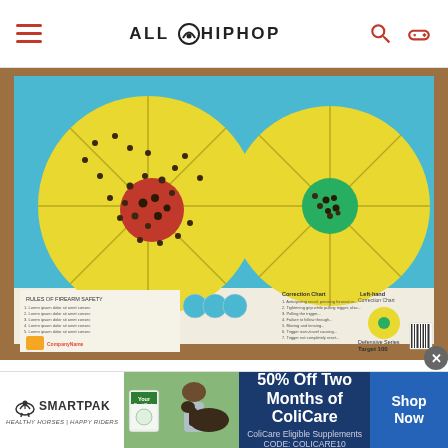ALL HIPHOP
[Figure (photo): A shooting target board mounted on a cork/wood frame. The target has a blue background with two large yellow circular targets, each divided into sections by lines. The left target has a red center bullseye with many bullet holes scattered around it. The right target has a green center bullseye with a cluster of bullet holes in the center. The bottom of the target has printed text and safety instructions. Text reads 'Target 100'.]
On this one, I split the bottom-half of the target for one-handed shots.
[Figure (infographic): SmartPak advertisement banner. Left section has SmartPak logo (horse and rider icon) with tagline 'HEALTHY HORSES | HAPPY RIDERS'. Center shows a product box (YourBestGuts) and a photo of a woman with a dark horse outdoors. Right blue section reads '50% Off Two Months of ColiCare, ColiCare Eligible Supplements, CODE: COLICARE10' with a 'Shop Now' button.]